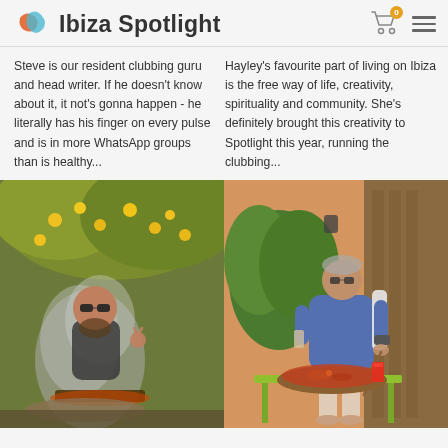Ibiza Spotlight
Steve is our resident clubbing guru and head writer. If he doesn't know about it, it not's gonna happen - he literally has his finger on every pulse and is in more WhatsApp groups than is healthy...
Hayley's favourite part of living on Ibiza is the free way of life, creativity, spirituality and community. She's definitely brought this creativity to Spotlight this year, running the clubbing...
[Figure (photo): Man with sunglasses making a peace sign next to an open fire/barbecue in a garden with citrus trees in background]
[Figure (photo): Man in blue t-shirt with glasses cooking a paella in a large pan on a green table in a courtyard with plants]